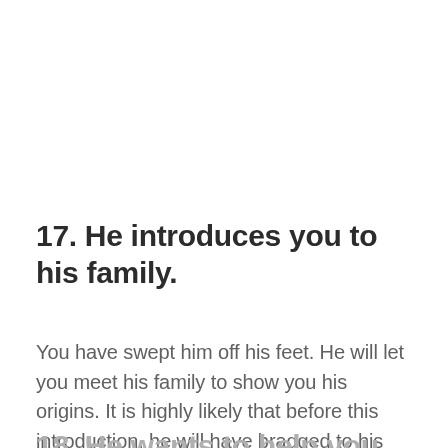17. He introduces you to his family.
You have swept him off his feet. He will let you meet his family to show you his origins. It is highly likely that before this introduction, he will have bragged to his family all about you and how amazing you are.
18. He wants to help you build...